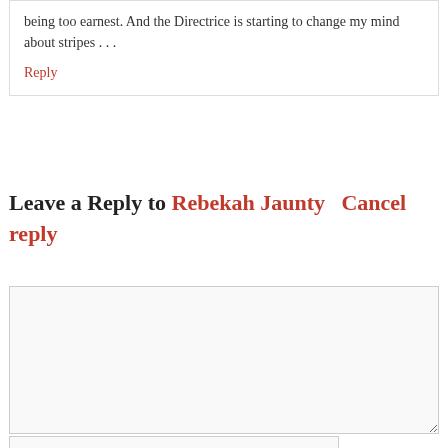being too earnest. And the Directrice is starting to change my mind about stripes . . .
Reply
Leave a Reply to Rebekah Jaunty   Cancel reply
[Figure (other): Comment text input textarea (empty, light gray background)]
[Figure (other): Name input field with placeholder text 'Name *']